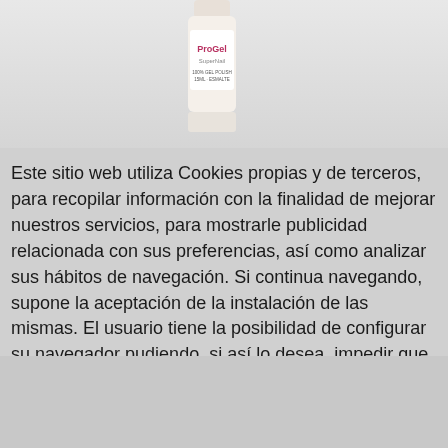[Figure (photo): Partial view of ProGel SuperNail nail polish bottle and a pink bottle beside it, cropped at top of page]
Este sitio web utiliza Cookies propias y de terceros, para recopilar información con la finalidad de mejorar nuestros servicios, para mostrarle publicidad relacionada con sus preferencias, así como analizar sus hábitos de navegación. Si continua navegando, supone la aceptación de la instalación de las mismas. El usuario tiene la posibilidad de configurar su navegador pudiendo, si así lo desea, impedir que sean instaladas en su disco duro, aunque deberá tener en cuenta que dicha acción podrá ocasionar dificultades de navegación de la página web. Cómo configurar  Aceptar